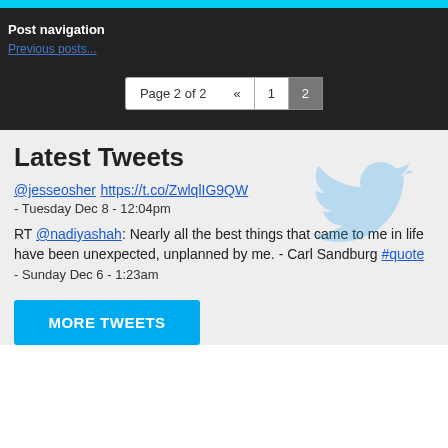Post navigation
Previous posts...
Page 2 of 2  «  1  2
Latest Tweets
@jesseosher https://t.co/ZwlqlIG9QW
- Tuesday Dec 8 - 12:04pm
RT @nadiyashah: Nearly all the best things that came to me in life have been unexpected, unplanned by me. - Carl Sandburg #quote
- Sunday Dec 6 - 1:23am
MORE TWEETS